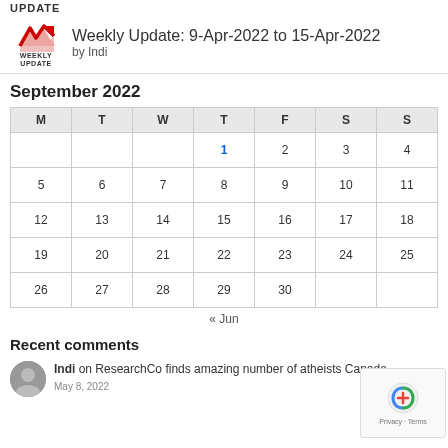UPDATE
Weekly Update: 9-Apr-2022 to 15-Apr-2022
by Indi
September 2022
| M | T | W | T | F | S | S |
| --- | --- | --- | --- | --- | --- | --- |
|  |  |  | 1 | 2 | 3 | 4 |
| 5 | 6 | 7 | 8 | 9 | 10 | 11 |
| 12 | 13 | 14 | 15 | 16 | 17 | 18 |
| 19 | 20 | 21 | 22 | 23 | 24 | 25 |
| 26 | 27 | 28 | 29 | 30 |  |  |
« Jun
Recent comments
Indi on ResearchCo finds amazing number of atheists Canada
May 8, 2022